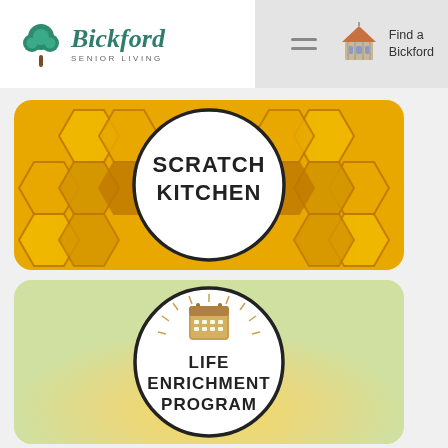[Figure (logo): Bickford Senior Living logo with tree icon and text]
[Figure (logo): Find a Bickford navigation element with gazebo/building icon]
[Figure (illustration): Scratch Kitchen card with honeycomb pattern background and circular white center showing 'SCRATCH KITCHEN' text]
[Figure (illustration): Life Enrichment Program card with watercolor background, circular white center with calendar icon with sunburst and text 'LIFE ENRICHMENT PROGRAM']